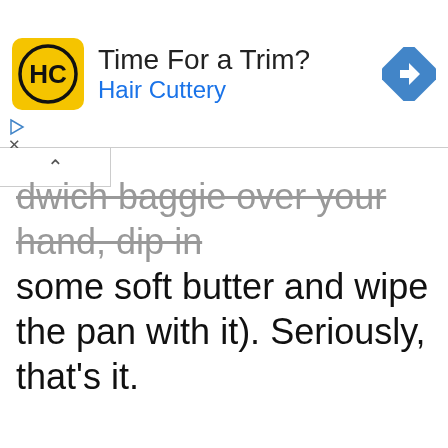[Figure (other): Hair Cuttery advertisement banner with yellow logo showing HC initials, text 'Time For a Trim?' and 'Hair Cuttery', and a blue diamond navigation icon on the right]
dwich baggie over your hand, dip in some soft butter and wipe the pan with it). Seriously, that’s it.